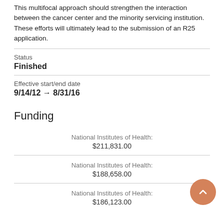This multifocal approach should strengthen the interaction between the cancer center and the minority servicing institution. These efforts will ultimately lead to the submission of an R25 application.
Status
Finished
Effective start/end date
9/14/12 → 8/31/16
Funding
National Institutes of Health:
$211,831.00
National Institutes of Health:
$188,658.00
National Institutes of Health:
$186,123.00